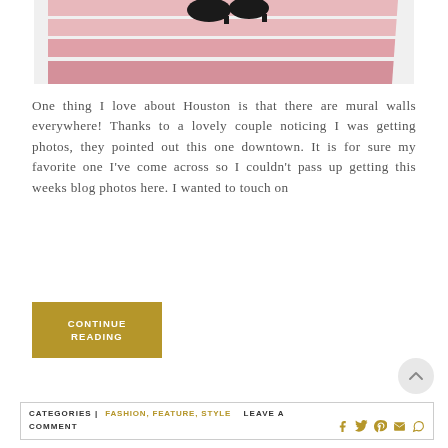[Figure (photo): Bottom portion of a person standing on pink stairs wearing black heeled boots, with white stair railings visible]
One thing I love about Houston is that there are mural walls everywhere!  Thanks to a lovely couple noticing I was getting photos, they pointed out this one downtown.  It is for sure my favorite one I've come across so I couldn't pass up getting this weeks blog photos here. I wanted to touch on
CONTINUE READING
CATEGORIES | FASHION, FEATURE, STYLE  LEAVE A COMMENT